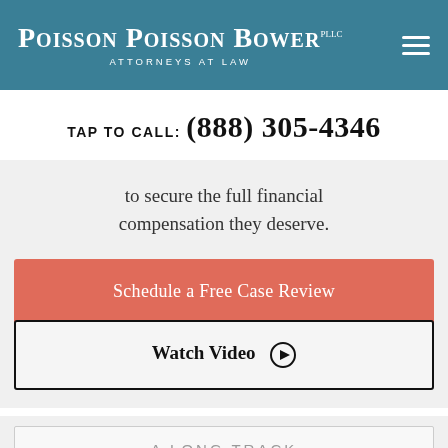Poisson Poisson Bower PLLC – Attorneys at Law
TAP TO CALL: (888) 305-4346
to secure the full financial compensation they deserve.
Schedule a Free Case Review
Watch Video
A LONG TRACK